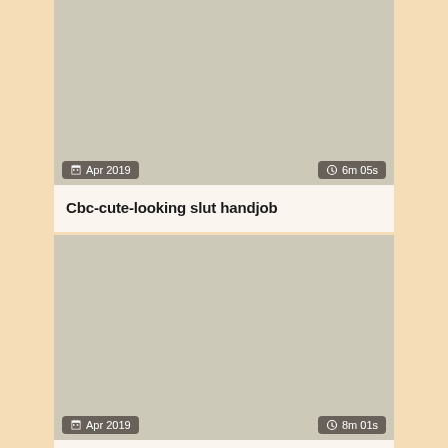[Figure (screenshot): Video thumbnail placeholder (beige/tan color) for first card, with date badge 'Apr 2019' and duration badge '6m 05s']
Cbc-cute-looking slut handjob
[Figure (screenshot): Video thumbnail placeholder (beige/tan color) for second card, with date badge 'Apr 2019' and duration badge '8m 01s']
Super hot slut gives remarkable blowjob